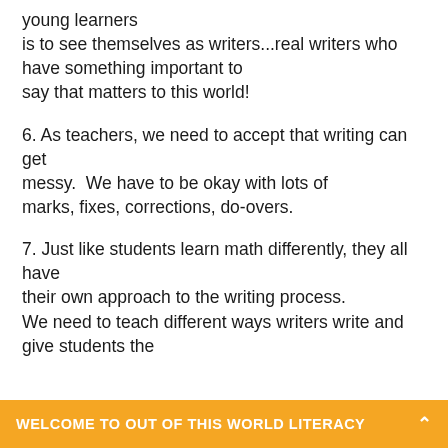young learners is to see themselves as writers...real writers who have something important to say that matters to this world!
6. As teachers, we need to accept that writing can get messy.  We have to be okay with lots of marks, fixes, corrections, do-overs.
7. Just like students learn math differently, they all have their own approach to the writing process. We need to teach different ways writers write and give students the
WELCOME TO OUT OF THIS WORLD LITERACY